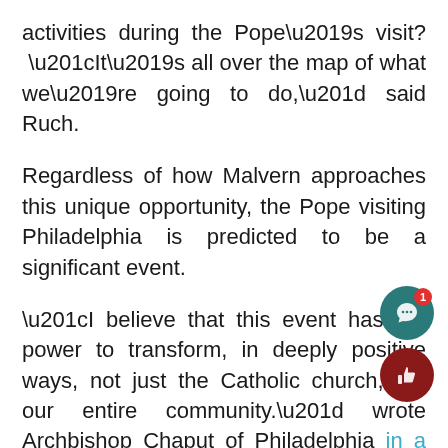activities during the Pope’s visit? “It’s all over the map of what we’re going to do,” said Ruch.
Regardless of how Malvern approaches this unique opportunity, the Pope visiting Philadelphia is predicted to be a significant event.
“I believe that this event has the power to transform, in deeply positive ways, not just the Catholic church, but our entire community.” wrote Archbishop Chaput of Philadelphia in a letter to the World Meeting of Families (WMF) organization.
Those of the faculty who have pushed for supporting a trip to Philly believe that it will be beneficial to Malvern’s students. Attending such “powerful” event could possibly be very